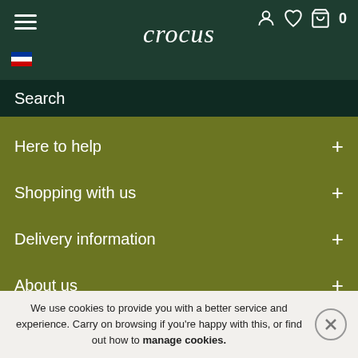crocus
Search
Here to help
Shopping with us
Delivery information
About us
Crocus at Dorney Court
[Figure (infographic): Social media icons row: Twitter, Pinterest, Facebook, Instagram, YouTube]
We use cookies to provide you with a better service and experience. Carry on browsing if you're happy with this, or find out how to manage cookies.